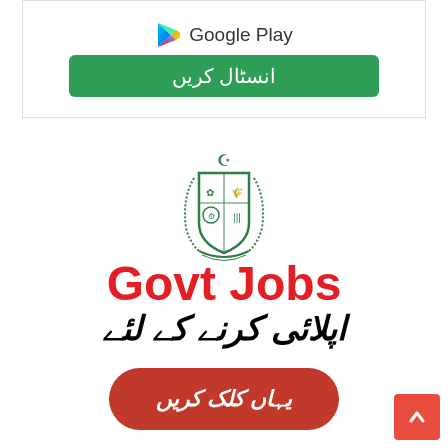[Figure (logo): Google Play store logo with play button triangle icon and text 'Google Play']
انسٹال کریں
[Figure (logo): Pakistan Government emblem/coat of arms in green]
Govt Jobs
اپلائی کرنے کے لئے
یہاں کلک کریں